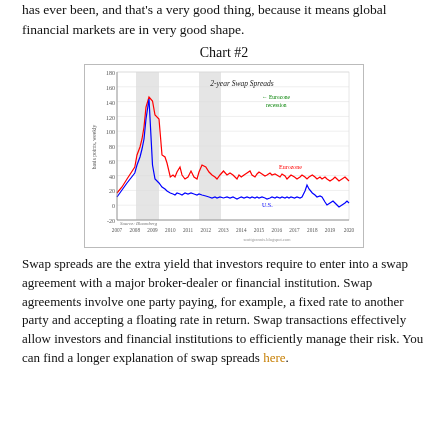has ever been, and that's a very good thing, because it means global financial markets are in very good shape.
Chart #2
[Figure (continuous-plot): Line chart showing 2-year swap spreads (basis points, weekly) from 2007 to 2020 for two series: Eurozone (red line) and U.S. (blue line). The Eurozone series peaks around 150 in 2008-2009 and again around 110 in 2011-2012, then declines. The U.S. series follows a similar but lower pattern. A shaded region indicates the Eurozone recession. Source: Bloomberg. scottgrannis.blogspot.com]
Swap spreads are the extra yield that investors require to enter into a swap agreement with a major broker-dealer or financial institution. Swap agreements involve one party paying, for example, a fixed rate to another party and accepting a floating rate in return. Swap transactions effectively allow investors and financial institutions to efficiently manage their risk. You can find a longer explanation of swap spreads here.